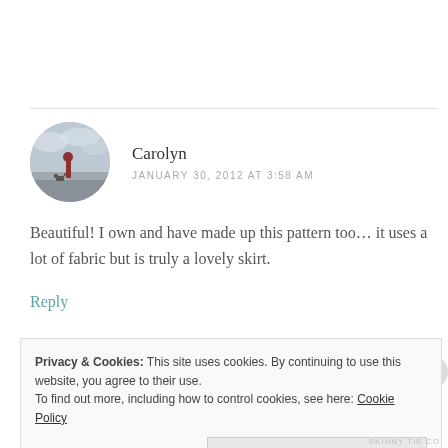[Figure (photo): Circular avatar photo of a person with a dog outdoors, gray cloudy sky background]
Carolyn
JANUARY 30, 2012 AT 3:58 AM
Beautiful! I own and have made up this pattern too… it uses a lot of fabric but is truly a lovely skirt.
Reply
Privacy & Cookies: This site uses cookies. By continuing to use this website, you agree to their use.
To find out more, including how to control cookies, see here: Cookie Policy
Close and accept